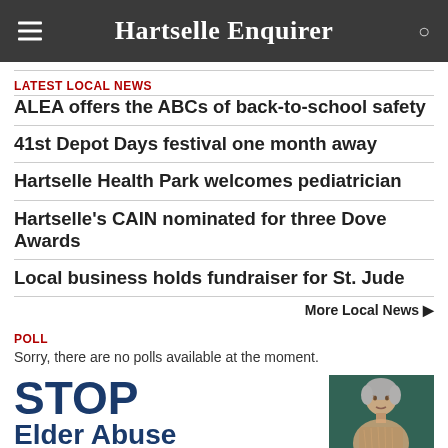Hartselle Enquirer
LATEST LOCAL NEWS
ALEA offers the ABCs of back-to-school safety
41st Depot Days festival one month away
Hartselle Health Park welcomes pediatrician
Hartselle's CAIN nominated for three Dove Awards
Local business holds fundraiser for St. Jude
More Local News ▶
POLL
Sorry, there are no polls available at the moment.
[Figure (infographic): STOP Elder Abuse advertisement with photo of elderly woman]